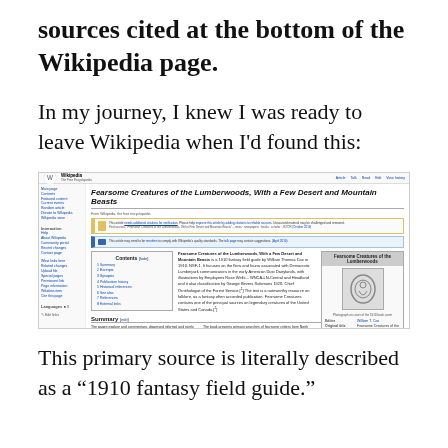sources cited at the bottom of the Wikipedia page.
In my journey, I knew I was ready to leave Wikipedia when I'd found this:
[Figure (screenshot): Screenshot of a Wikipedia article page for 'Fearsome Creatures of the Lumberwoods, With a Few Desert and Mountain Beasts', showing article title, sidebar navigation, notice banners, table of contents, infobox with book cover image, and summary text.]
This primary source is literally described as a “1910 fantasy field guide.”